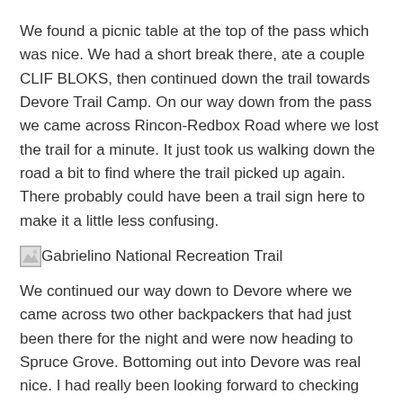We found a picnic table at the top of the pass which was nice.  We had a short break there, ate a couple CLIF BLOKS, then continued down the trail towards Devore Trail Camp.  On our way down from the pass we came across Rincon-Redbox Road where we lost the trail for a minute. It just took us walking down the road a bit to find where the trail picked up again.  There probably could have been a trail sign here to make it a little less confusing.
[Figure (photo): Placeholder image for Gabrielino National Recreation Trail]
We continued our way down to Devore where we came across two other backpackers that had just been there for the night and were now heading to Spruce Grove.  Bottoming out into Devore was real nice.  I had really been looking forward to checking out this trail camp as well as West Fork.
[Figure (photo): Placeholder image for West Fork Trail Camp]
There was only one couple camping there when we arrived.  We made